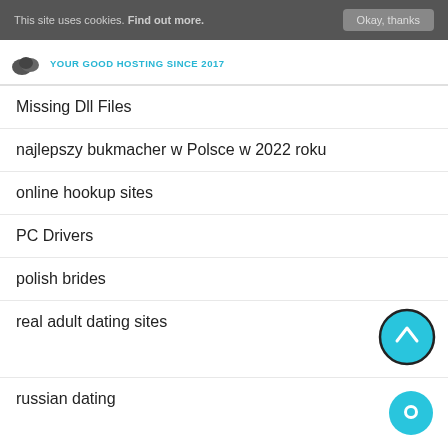This site uses cookies. Find out more. | Okay, thanks
[Figure (logo): Cloud logo with tagline YOUR GOOD HOSTING SINCE 2017]
Missing Dll Files
najlepszy bukmacher w Polsce w 2022 roku
online hookup sites
PC Drivers
polish brides
real adult dating sites
russian dating
Technology